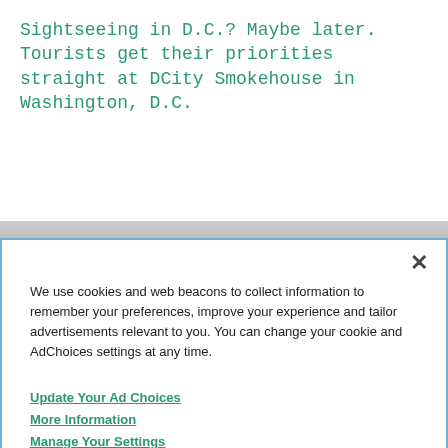Sightseeing in D.C.? Maybe later. Tourists get their priorities straight at DCity Smokehouse in Washington, D.C.
[Figure (other): White blank area representing a webpage content area, with a gray horizontal band near the bottom]
We use cookies and web beacons to collect information to remember your preferences, improve your experience and tailor advertisements relevant to you. You can change your cookie and AdChoices settings at any time.
Update Your Ad Choices
More Information
Manage Your Settings